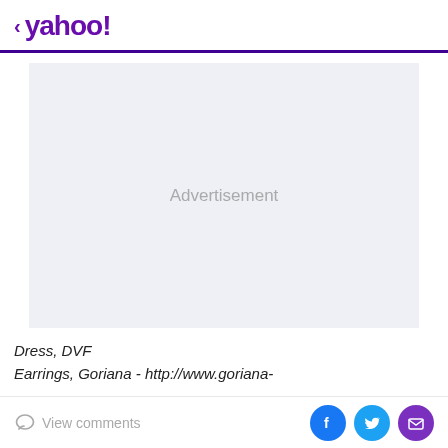< yahoo!
[Figure (other): Advertisement placeholder box with light grey background and text 'Advertisement' centered]
Dress, DVF
Earrings, Goriana - http://www.goriana-
View comments  [Facebook] [Twitter] [Email]